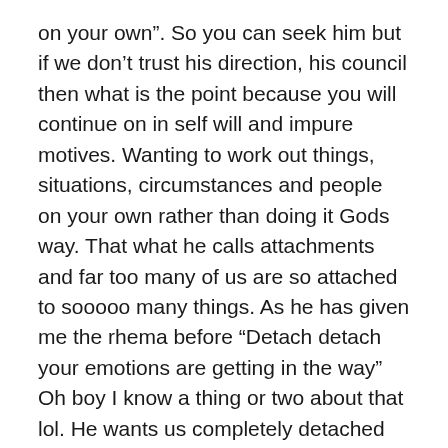on your own”. So you can seek him but if we don’t trust his direction, his council then what is the point because you will continue on in self will and impure motives. Wanting to work out things, situations, circumstances and people on your own rather than doing it Gods way. That what he calls attachments and far too many of us are so attached to sooooo many things. As he has given me the rhema before “Detach detach your emotions are getting in the way” Oh boy I know a thing or two about that lol. He wants us completely detached from the things of the earth, outcomes and from creatures as well. To be only attached to him, his way and his will when we seek him.
You see Jesus not only wants your life, your heart